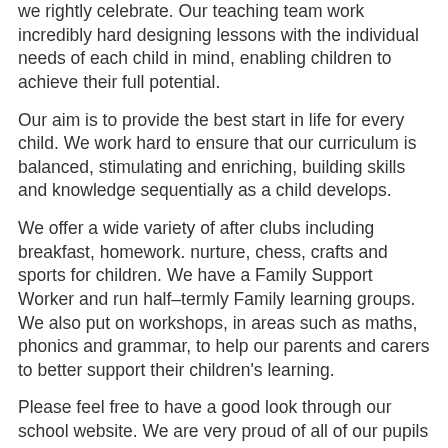we rightly celebrate. Our teaching team work incredibly hard designing lessons with the individual needs of each child in mind, enabling children to achieve their full potential.
Our aim is to provide the best start in life for every child. We work hard to ensure that our curriculum is balanced, stimulating and enriching, building skills and knowledge sequentially as a child develops.
We offer a wide variety of after clubs including breakfast, homework. nurture, chess, crafts and sports for children. We have a Family Support Worker and run half–termly Family learning groups. We also put on workshops, in areas such as maths, phonics and grammar, to help our parents and carers to better support their children's learning.
Please feel free to have a good look through our school website. We are very proud of all of our pupils and the direction in which the school is heading. We hope that the information and the photographs you will find offer a snapshot of our happy and welcoming school.